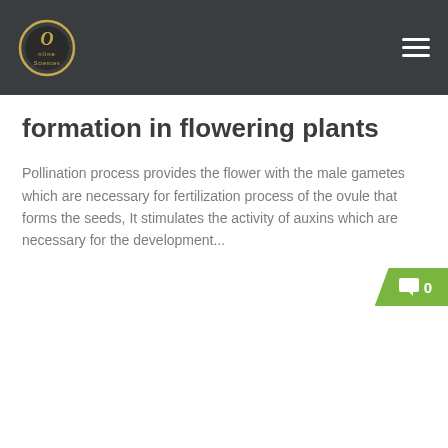Online Sciences
formation in flowering plants
Pollination process provides the flower with the male gametes which are necessary for fertilization process of the ovule that forms the seeds, It stimulates the activity of auxins which are necessary for the development...